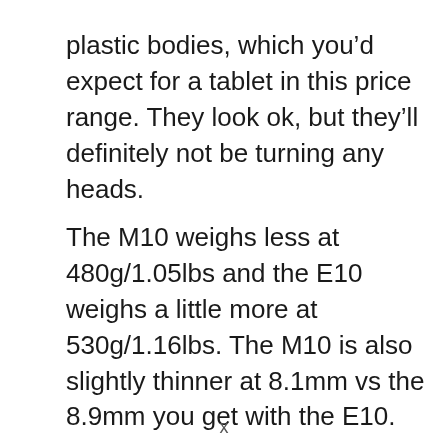plastic bodies, which you'd expect for a tablet in this price range. They look ok, but they'll definitely not be turning any heads.
The M10 weighs less at 480g/1.05lbs and the E10 weighs a little more at 530g/1.16lbs. The M10 is also slightly thinner at 8.1mm vs the 8.9mm you get with the E10.
x